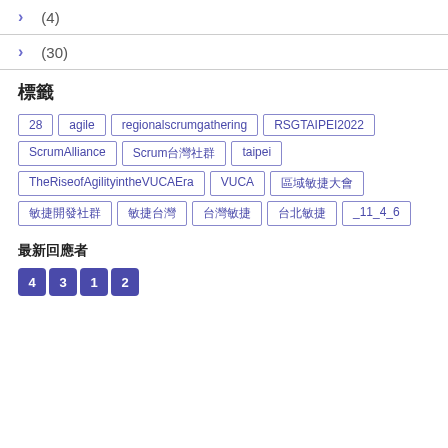> (4)
> (30)
標籤
28 agile regionalscrumgathering RSGTAIPEI2022 ScrumAlliance Scrum台灣社群 taipei TheRiseofAgilityintheVUCAEra VUCA 區域敏捷大會 敏捷開發社群 敏捷台灣 台灣敏捷 台北敏捷 _11_4_6
最新回應者
4 3 1 2